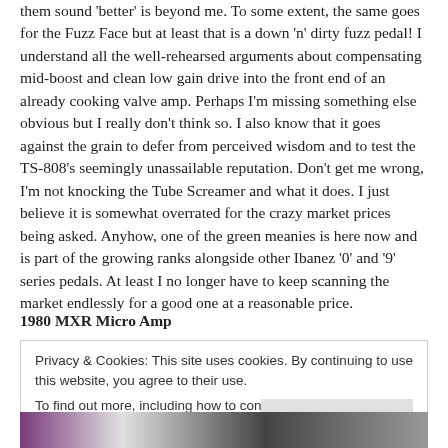them sound 'better' is beyond me. To some extent, the same goes for the Fuzz Face but at least that is a down 'n' dirty fuzz pedal! I understand all the well-rehearsed arguments about compensating mid-boost and clean low gain drive into the front end of an already cooking valve amp. Perhaps I'm missing something else obvious but I really don't think so. I also know that it goes against the grain to defer from perceived wisdom and to test the TS-808's seemingly unassailable reputation. Don't get me wrong, I'm not knocking the Tube Screamer and what it does. I just believe it is somewhat overrated for the crazy market prices being asked. Anyhow, one of the green meanies is here now and is part of the growing ranks alongside other Ibanez '0' and '9' series pedals. At least I no longer have to keep scanning the market endlessly for a good one at a reasonable price.
1980 MXR Micro Amp
Privacy & Cookies: This site uses cookies. By continuing to use this website, you agree to their use.
To find out more, including how to control cookies, see here: Cookie Policy
[Figure (photo): Partial photo strip at the bottom of the page showing what appears to be guitar pedal or music equipment images.]